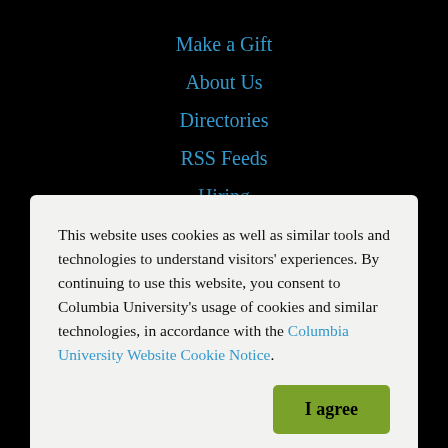Make a Gift
About Us
Directories
RSS Feeds
Hiring
Media Inquiries
This website uses cookies as well as similar tools and technologies to understand visitors' experiences. By continuing to use this website, you consent to Columbia University's usage of cookies and similar technologies, in accordance with the Columbia University Website Cookie Notice.
I agree
Columbia University in the City of New York